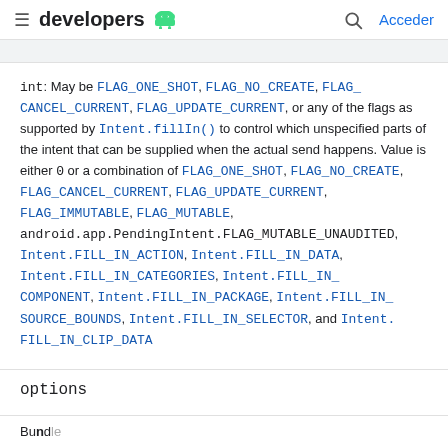developers [android logo] | Acceder
int: May be FLAG_ONE_SHOT, FLAG_NO_CREATE, FLAG_CANCEL_CURRENT, FLAG_UPDATE_CURRENT, or any of the flags as supported by Intent.fillIn() to control which unspecified parts of the intent that can be supplied when the actual send happens. Value is either 0 or a combination of FLAG_ONE_SHOT, FLAG_NO_CREATE, FLAG_CANCEL_CURRENT, FLAG_UPDATE_CURRENT, FLAG_IMMUTABLE, FLAG_MUTABLE, android.app.PendingIntent.FLAG_MUTABLE_UNAUDITED, Intent.FILL_IN_ACTION, Intent.FILL_IN_DATA, Intent.FILL_IN_CATEGORIES, Intent.FILL_IN_COMPONENT, Intent.FILL_IN_PACKAGE, Intent.FILL_IN_SOURCE_BOUNDS, Intent.FILL_IN_SELECTOR, and Intent.FILL_IN_CLIP_DATA
options
Bundle (partial cut off at bottom)